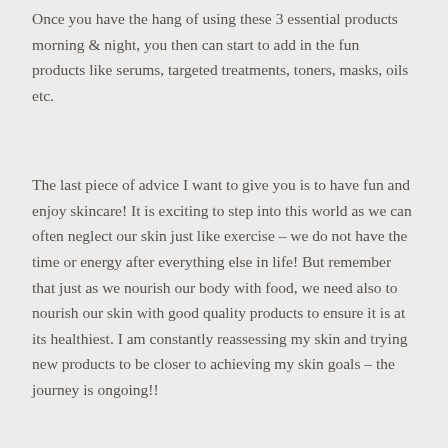Once you have the hang of using these 3 essential products morning & night, you then can start to add in the fun products like serums, targeted treatments, toners, masks, oils etc.
The last piece of advice I want to give you is to have fun and enjoy skincare! It is exciting to step into this world as we can often neglect our skin just like exercise – we do not have the time or energy after everything else in life! But remember that just as we nourish our body with food, we need also to nourish our skin with good quality products to ensure it is at its healthiest. I am constantly reassessing my skin and trying new products to be closer to achieving my skin goals – the journey is ongoing!!